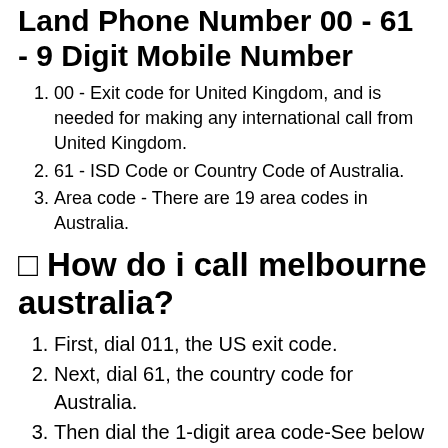Land Phone Number 00 - 61 - 9 Digit Mobile Number
00 - Exit code for United Kingdom, and is needed for making any international call from United Kingdom.
61 - ISD Code or Country Code of Australia.
Area code - There are 19 area codes in Australia.
□ How do i call melbourne australia?
First, dial 011, the US exit code.
Next, dial 61, the country code for Australia.
Then dial the 1-digit area code-See below for a list of all the area codes in Australia.
Finally, dial the 8-digit phone number.